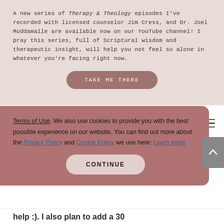A new series of Therapy & Theology episodes I've recorded with licensed counselor Jim Cress, and Dr. Joel Muddamalle are available now on our YouTube channel! I pray this series, full of Scriptural wisdom and therapeutic insight, will help you not feel so alone in whatever you're facing right now.
TAKE ME THERE
[Figure (logo): Lysa TerKeurst logo with leaf/botanical illustration and text LYSA TERKEURST]
Terms of Use. We also use cookies to provide you with the best possible experience on our website. You can find out more about the Privacy Policy and Cookie Policy we use here: Learn more
CONTINUE
help :). I also plan to add a 30